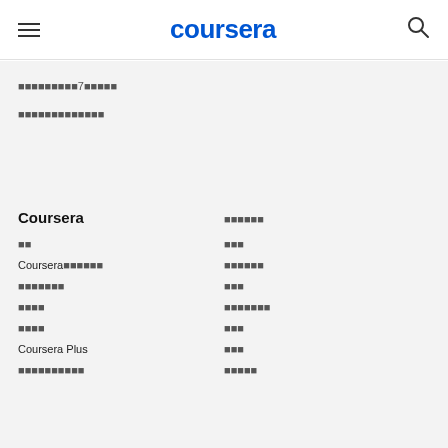coursera
■■■■■■■■■7■■■■■
■■■■■■■■■■■■■
Coursera
■■■■■■
■■
■■■
Coursera■■■■■■
■■■■■■
■■■■■■■
■■■
■■■■
■■■■■■■
■■■■
■■■
Coursera Plus
■■■
■■■■■■■■■■
■■■■■